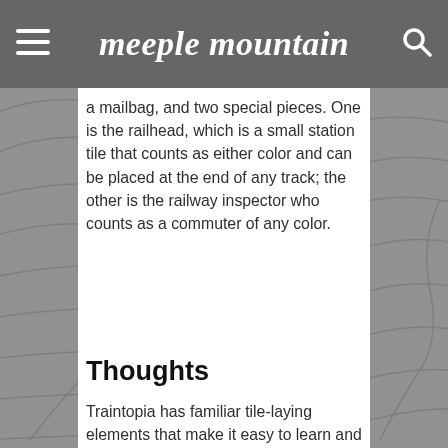meeple mountain
a mailbag, and two special pieces. One is the railhead, which is a small station tile that counts as either color and can be placed at the end of any track; the other is the railway inspector who counts as a commuter of any color.
Thoughts
Traintopia has familiar tile-laying elements that make it easy to learn and explain, but the small additions make a surprisingly big difference. There is a lot to consider with each piece you draft, but